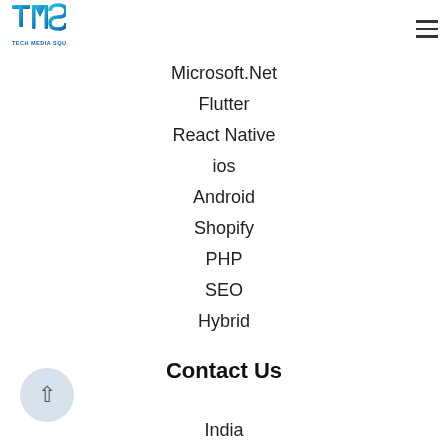[Figure (logo): Tech Media Square (TMS) logo with blue gradient T, M, S letters and text 'TECH MEDIA SQUARE' below]
Microsoft.Net
Flutter
React Native
ios
Android
Shopify
PHP
SEO
Hybrid
Contact Us
India